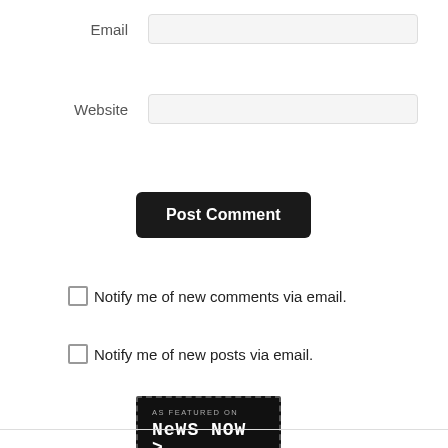Email
Website
Post Comment
Notify me of new comments via email.
Notify me of new posts via email.
[Figure (logo): AS FEATURED ON News Now badge — black background with dashed border, pixel-font style text reading 'AS FEATURED ON' and 'NeWS NOW >']
Spurs News 24/7